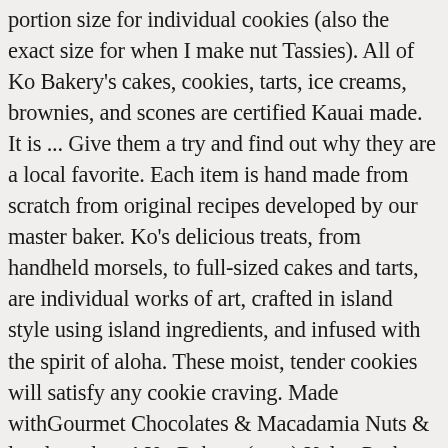portion size for individual cookies (also the exact size for when I make nut Tassies). All of Ko Bakery's cakes, cookies, tarts, ice creams, brownies, and scones are certified Kauai made. It is ... Give them a try and find out why they are a local favorite. Each item is hand made from scratch from original recipes developed by our master baker. Ko's delicious treats, from handheld morsels, to full-sized cakes and tarts, are individual works of art, crafted in island style using island ingredients, and infused with the spirit of aloha. These moist, tender cookies will satisfy any cookie craving. Made withGourmet Chocolates & Macadamia Nuts & local products! Ko Bakery (map) Kalua Pork or Goat Cheese and Roasted Pepper Manapua. These unique treats are great for dipping in coffee, tea or wine, but are so tender and crunchy that they can be eaten right out of the package. Ko Crisps are extraordinarily delicate and crispy cookies in tropical and traditional flavors. 54 servings of Ko Bakery's Hawaiian...